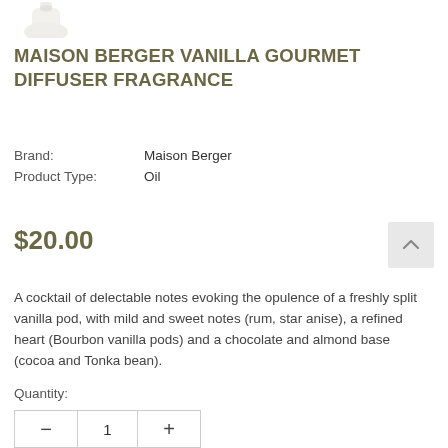[Figure (photo): Partial view of a white Maison Berger diffuser/bottle product image at top of page]
MAISON BERGER VANILLA GOURMET DIFFUSER FRAGRANCE
Brand:    Maison Berger
Product Type:    Oil
$20.00
A cocktail of delectable notes evoking the opulence of a freshly split vanilla pod, with mild and sweet notes (rum, star anise), a refined heart (Bourbon vanilla pods) and a chocolate and almond base (cocoa and Tonka bean).
Quantity:
— 1 +